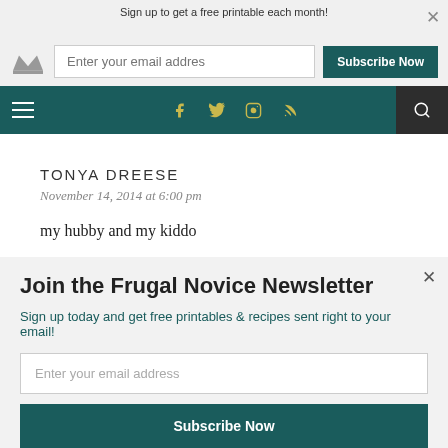Sign up to get a free printable each month! Enter your email addres [Subscribe Now]
[Figure (screenshot): Website navigation bar with hamburger menu, social icons (Facebook, Twitter, Instagram, RSS), and search icon on dark teal background]
TONYA DREESE
November 14, 2014 at 6:00 pm
my hubby and my kiddo
Join the Frugal Novice Newsletter
Sign up today and get free printables & recipes sent right to your email!
Enter your email address
Subscribe Now